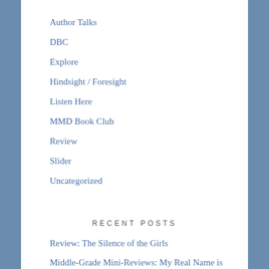Author Talks
DBC
Explore
Hindsight / Foresight
Listen Here
MMD Book Club
Review
Slider
Uncategorized
RECENT POSTS
Review: The Silence of the Girls
Middle-Grade Mini-Reviews: My Real Name is Hanna and Lifeboat 12
August 2018 Wrap-Up
Review: The House of Broken Angels (partial)